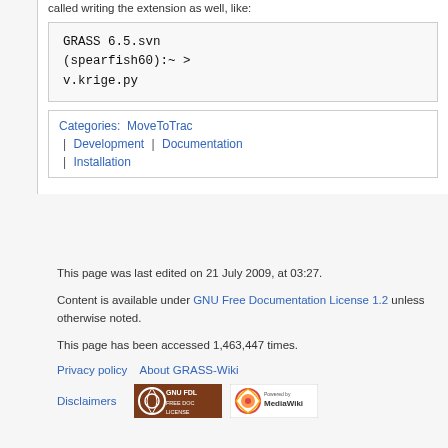called writing the extension as well, like:
GRASS 6.5.svn (spearfish60):~ > v.krige.py
Categories: MoveToTrac | Development | Documentation | Installation
This page was last edited on 21 July 2009, at 03:27.
Content is available under GNU Free Documentation License 1.2 unless otherwise noted.
This page has been accessed 1,463,447 times.
Privacy policy   About GRASS-Wiki
Disclaimers